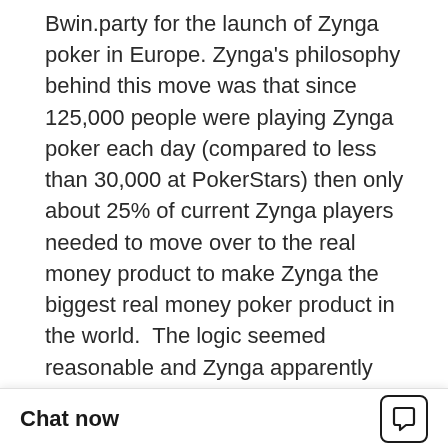Bwin.party for the launch of Zynga poker in Europe. Zynga's philosophy behind this move was that since 125,000 people were playing Zynga poker each day (compared to less than 30,000 at PokerStars) then only about 25% of current Zynga players needed to move over to the real money product to make Zynga the biggest real money poker product in the world.  The logic seemed reasonable and Zynga apparently planned to incorporate its casino and bingo products into the site as well to give a full range of betting options to its customers.
The fallacy of this philosophy, however became appare... Gaming Survey...